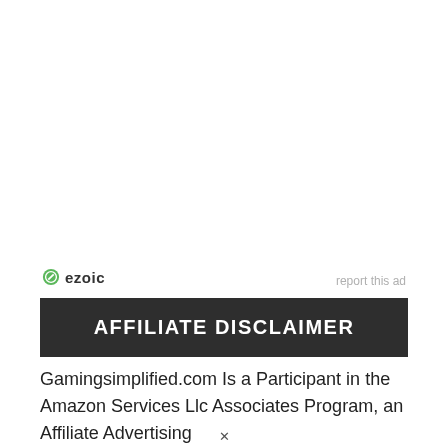[Figure (logo): Ezoic logo with green circular icon and bold 'ezoic' text]
report this ad
AFFILIATE DISCLAIMER
Gamingsimplified.com Is a Participant in the Amazon Services Llc Associates Program, an Affiliate Advertising